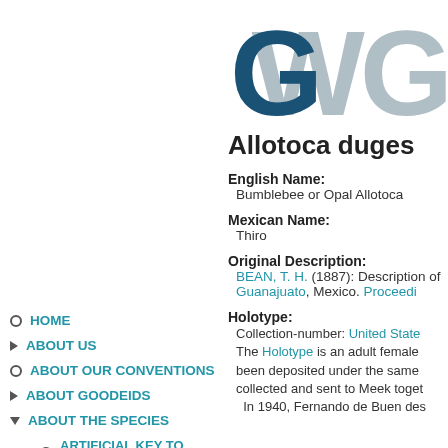[Figure (logo): GWG logo with dark blue G and light grey WG letters]
HOME
ABOUT US
ABOUT OUR CONVENTIONS
ABOUT GOODEIDS
ABOUT THE SPECIES
ARTIFICIAL KEY TO ADULT GOODEIDS
ALLODONTICHTHYS
ALLOOPHORUS
ALLOTOCA
Allotoca catarinae
Allotoca diazi
Allotoca dugesii
Allotoca goslinei
Allotoca maculata
Allotoca meeki
Allotoca dugesii
English Name: Bumblebee or Opal Allotoca
Mexican Name: Thiro
Original Description: BEAN, T. H. (1887): Description of Guanajuato, Mexico. Proceedi
Holotype: Collection-number: United State The Holotype is an adult female been deposited under the same collected and sent to Meek together In 1940, Fernando de Buen des